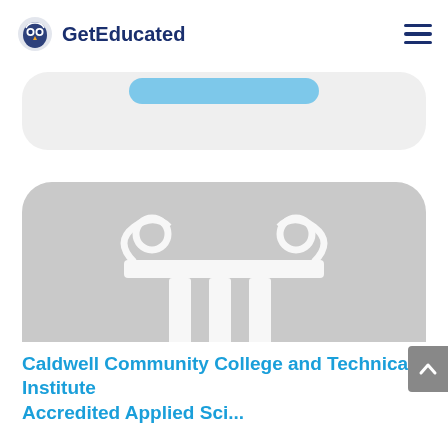GetEducated
[Figure (illustration): Gray rounded card with a classical column/pillar icon (white outline) representing a college institution placeholder image]
Caldwell Community College and Technical Institute